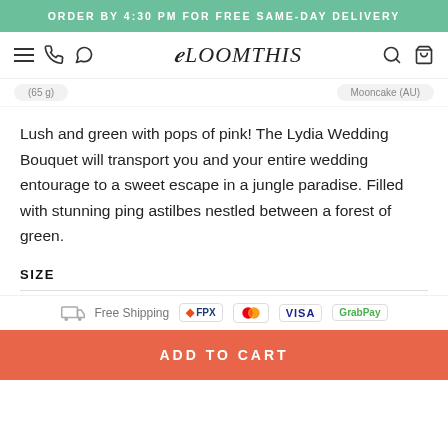ORDER BY 4:30 PM FOR FREE SAME-DAY DELIVERY
[Figure (logo): BloomThis logo with hamburger menu, phone and WhatsApp icons on left, search and cart icons on right]
(65 g)   Mooncake (AU)
Lush and green with pops of pink! The Lydia Wedding Bouquet will transport you and your entire wedding entourage to a sweet escape in a jungle paradise. Filled with stunning ping astilbes nestled between a forest of green.
SIZE
Free Shipping   FPX   Mastercard   VISA   GrabPay
ADD TO CART